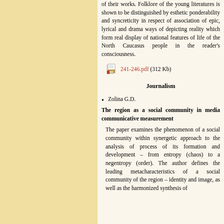of their works. Folklore of the young literatures is shown to be distinguished by esthetic ponderability and syncreticity in respect of association of epic, lyrical and drama ways of depicting reality which form real display of national features of life of the North Caucasus people in the reader's consciousness.
241-246.pdf (312 Kb)
Journalism
Zolina G.D.
The region as a social community in media communicative measurement
The paper examines the phenomenon of a social community within synergetic approach to the analysis of process of its formation and development – from entropy (chaos) to a negentropy (order). The author defines the leading metacharacteristics of a social community of the region – identity and image, as well as the harmonized synthesis of